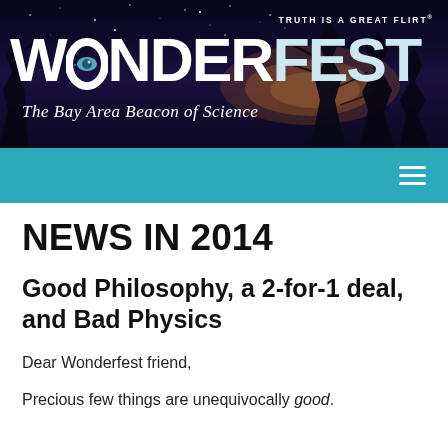[Figure (photo): Wonderfest website header banner with night sky background, tree silhouettes, Wonderfest logo in white bold text, tagline 'TRUTH IS A GREAT FLIRT', subtitle 'The Bay Area Beacon of Science', and teal navigation bar with hamburger menu icon]
NEWS IN 2014
Good Philosophy, a 2-for-1 deal, and Bad Physics
Dear Wonderfest friend,
Precious few things are unequivocally good.